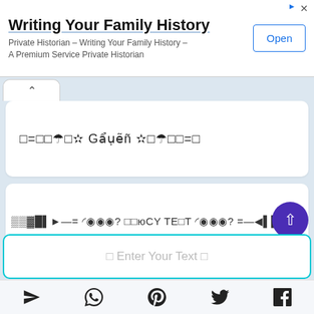[Figure (screenshot): Advertisement banner for 'Writing Your Family History' service with an Open button]
Writing Your Family History
Private Historian – Writing Your Family History – A Premium Service Private Historian
[Figure (screenshot): Fancy text style output 1: □=□□☆□❋ Ĝẹṷẹñ ❋□☆□□=□]
[Figure (screenshot): Fancy text style output 2: decorative text reading fancy text]
⬜ Enter Your Text ⬜
[Figure (screenshot): Bottom navigation bar with share, WhatsApp, Pinterest, Twitter, Facebook icons]